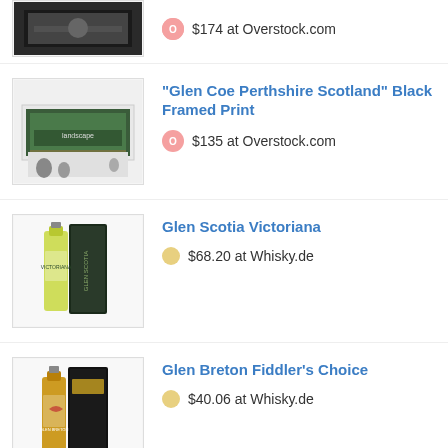[Figure (photo): Partial product thumbnail of a framed print at top of page]
$174 at Overstock.com
[Figure (photo): Glen Coe Perthshire Scotland black framed print product image]
"Glen Coe Perthshire Scotland" Black Framed Print
$135 at Overstock.com
[Figure (photo): Glen Scotia Victoriana whisky bottle product image]
Glen Scotia Victoriana
$68.20 at Whisky.de
[Figure (photo): Glen Breton Fiddler's Choice whisky bottle product image]
Glen Breton Fiddler's Choice
$40.06 at Whisky.de
[Figure (photo): nuLOOM Ellison Glen Striped Area Rug product image (partial)]
nuLOOM Ellison Glen Striped Area Rug